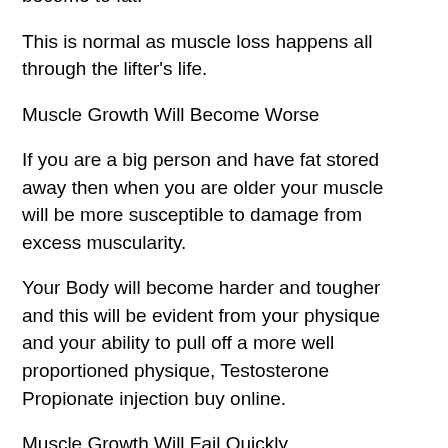become to fat.
This is normal as muscle loss happens all through the lifter's life.
Muscle Growth Will Become Worse
If you are a big person and have fat stored away then when you are older your muscle will be more susceptible to damage from excess muscularity.
Your Body will become harder and tougher and this will be evident from your physique and your ability to pull off a more well proportioned physique, Testosterone Propionate injection buy online.
Muscle Growth Will Fail Quickly
Muscle growth will fail because your